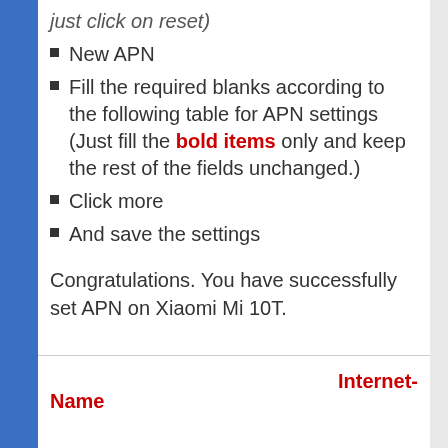just click on reset)
New APN
Fill the required blanks according to the following table for APN settings (Just fill the bold items only and keep the rest of the fields unchanged.)
Click more
And save the settings
Congratulations. You have successfully set APN on Xiaomi Mi 10T.
Internet-
Name